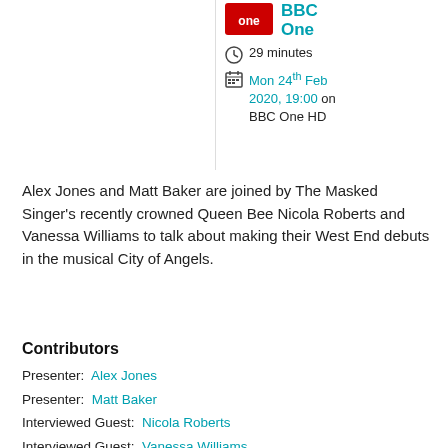[Figure (logo): BBC One logo - red square with white 'one' text]
BBC One
29 minutes
Mon 24th Feb 2020, 19:00 on BBC One HD
Alex Jones and Matt Baker are joined by The Masked Singer's recently crowned Queen Bee Nicola Roberts and Vanessa Williams to talk about making their West End debuts in the musical City of Angels.
Contributors
Presenter: Alex Jones
Presenter: Matt Baker
Interviewed Guest: Nicola Roberts
Interviewed Guest: Vanessa Williams
Executive Producer: Michael Armit